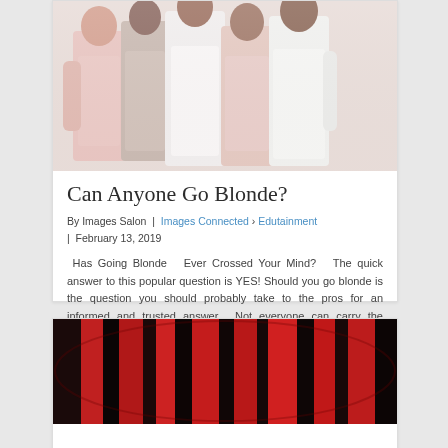[Figure (photo): Group of five women posing together, wearing light pink and white outfits against a white background]
Can Anyone Go Blonde?
By Images Salon | Images Connected > Edutainment | February 13, 2019
Has Going Blonde  Ever Crossed Your Mind?  The quick answer to this popular question is YES! Should you go blonde is the question you should probably take to the pros for an informed and trusted answer.  Not everyone can carry the blonde look well and that ...
Read more...
[Figure (photo): Close-up image with red and black tones, partially visible at bottom of page]